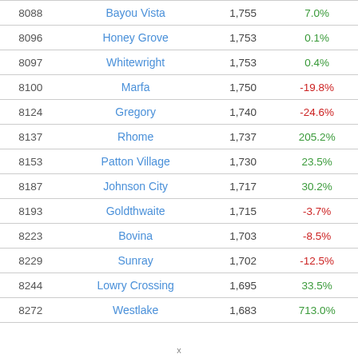|  | City | Population | Change |
| --- | --- | --- | --- |
| 8088 | Bayou Vista | 1,755 | 7.0% |
| 8096 | Honey Grove | 1,753 | 0.1% |
| 8097 | Whitewright | 1,753 | 0.4% |
| 8100 | Marfa | 1,750 | -19.8% |
| 8124 | Gregory | 1,740 | -24.6% |
| 8137 | Rhome | 1,737 | 205.2% |
| 8153 | Patton Village | 1,730 | 23.5% |
| 8187 | Johnson City | 1,717 | 30.2% |
| 8193 | Goldthwaite | 1,715 | -3.7% |
| 8223 | Bovina | 1,703 | -8.5% |
| 8229 | Sunray | 1,702 | -12.5% |
| 8244 | Lowry Crossing | 1,695 | 33.5% |
| 8272 | Westlake | 1,683 | 713.0% |